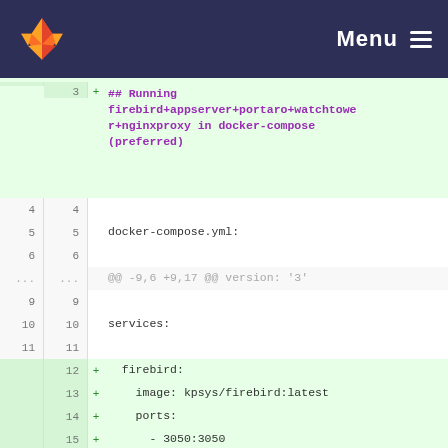[Figure (screenshot): GitLab navigation bar with fox logo and Menu hamburger button on dark navy background]
3  + ## Running firebird+appserver+portaro+watchtower+nginxproxy in docker-compose (preferred)
4  4
5  5  docker-compose.yml:
6  6
...  ...  @@ -9,6 +9,17 @@ version: '3'
9  9
10  10  services:
11  11
12  +    firebird:
13  +    image: kpsys/firebird:latest
14  +    ports:
15  +      - 3050:3050
16  +    volumes:
17  +      - /data/db:/data
18  +      - /var/run/docker.sock:/var/run/docker.sock